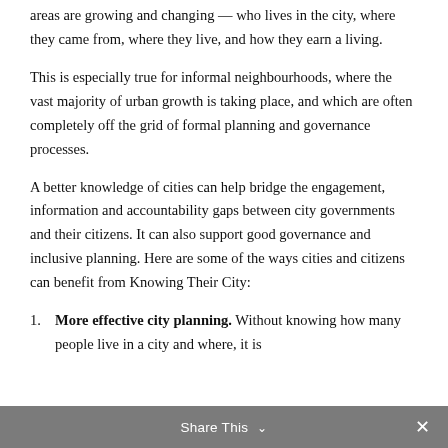areas are growing and changing — who lives in the city, where they came from, where they live, and how they earn a living.
This is especially true for informal neighbourhoods, where the vast majority of urban growth is taking place, and which are often completely off the grid of formal planning and governance processes.
A better knowledge of cities can help bridge the engagement, information and accountability gaps between city governments and their citizens. It can also support good governance and inclusive planning. Here are some of the ways cities and citizens can benefit from Knowing Their City:
More effective city planning. Without knowing how many people live in a city and where, it is